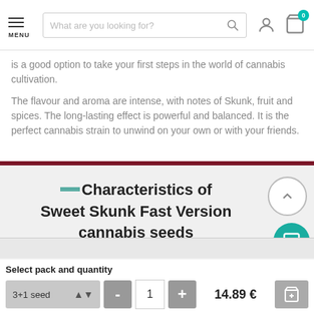MENU | Search bar | User icon | Cart icon
is a good option to take your first steps in the world of cannabis cultivation.
The flavour and aroma are intense, with notes of Skunk, fruit and spices. The long-lasting effect is powerful and balanced. It is the perfect cannabis strain to unwind on your own or with your friends.
Characteristics of Sweet Skunk Fast Version cannabis seeds
Select pack and quantity
3+1 seed  -  1  +  14.89 €